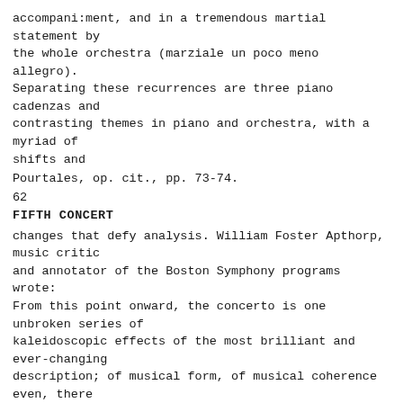accompani:ment, and in a tremendous martial statement by the whole orchestra (marziale un poco meno allegro). Separating these recurrences are three piano cadenzas and contrasting themes in piano and orchestra, with a myriad of shifts and
Pourtales, op. cit., pp. 73-74.
62
FIFTH CONCERT
changes that defy analysis. William Foster Apthorp, music critic and annotator of the Boston Symphony programs wrote: From this point onward, the concerto is one unbroken series of kaleidoscopic effects of the most brilliant and ever-changing description; of musical form, of musical coherence even, there is less and less. It is as if some magician in some huge cave, the walls of which were covered with glistening stalactites and flashing jewels, were revealing his fill of all the wonders of colour, brilliancy, and dazzling light his wand could command. Never has even Liszt rioted more unreservedly in fitful orgies of flashing colour. It is monstrous, formless, whimsical, and fantastic, if you will; but it is also magical and gorgeous as any? thing in the Arabian Nights. It is its very daring and audacity that save it. And ever and anon the first wailing melody, with its unearthly chromatic harmony, returns in one shape or another, as if it were the dazzled neophyte to whom the magician Liszt